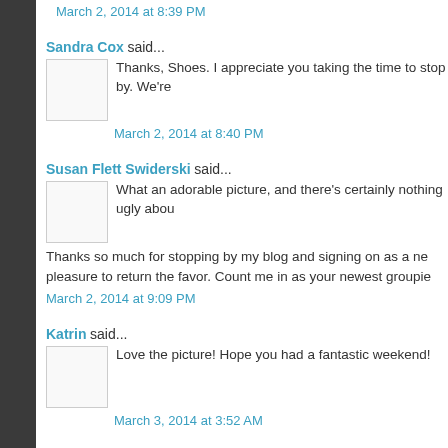March 2, 2014 at 8:39 PM
Sandra Cox said...
Thanks, Shoes. I appreciate you taking the time to stop by. We're
March 2, 2014 at 8:40 PM
Susan Flett Swiderski said...
What an adorable picture, and there's certainly nothing ugly abou
Thanks so much for stopping by my blog and signing on as a new pleasure to return the favor. Count me in as your newest groupie
March 2, 2014 at 9:09 PM
Katrin said...
Love the picture! Hope you had a fantastic weekend!
March 3, 2014 at 3:52 AM
Sandra Cox said...
My pleasure, Susan, and back at ya.
March 3, 2014 at 7:40 AM
Sandra Cox said...